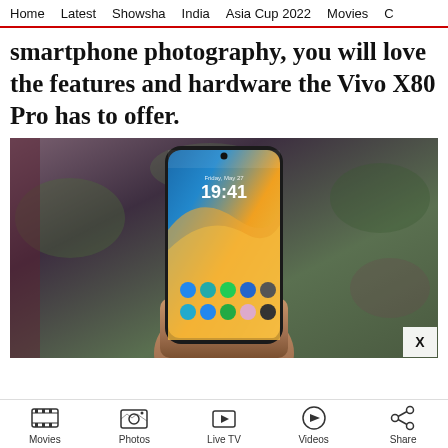Home  Latest  Showsha  India  Asia Cup 2022  Movies  C
smartphone photography, you will love the features and hardware the Vivo X80 Pro has to offer.
[Figure (photo): A hand holding a Vivo X80 Pro smartphone showing the home screen with time 19:41 displayed, set against a decorative floral background. An X close button is visible in the bottom right corner of the image.]
Movies  Photos  Live TV  Videos  Share